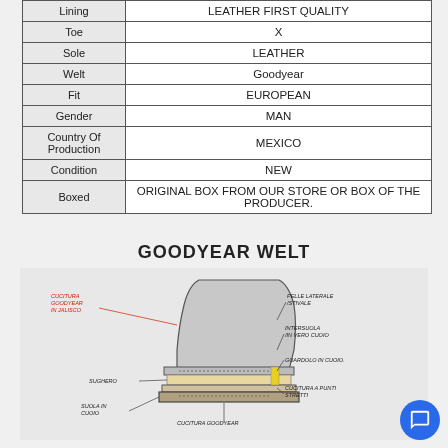|  |  |
| --- | --- |
| Lining | LEATHER FIRST QUALITY |
| Toe | X |
| Sole | LEATHER |
| Welt | Goodyear |
| Fit | EUROPEAN |
| Gender | MAN |
| Country Of Production | MEXICO |
| Condition | NEW |
| Boxed | ORIGINAL BOX FROM OUR STORE OR BOX OF THE PRODUCER. |
GOODYEAR WELT
[Figure (engineering-diagram): Cross-section diagram of a Goodyear welt shoe construction showing labeled components in Italian: CUCITURA GOODYEAR IN JALISCO, PELLE LATERALE (STIVALE), INTERSUOLA IN VERO CUOIO, GUARDOLO IN CUOIO, SUGHERO, SUOLA IN CUOIO, CUCITURA A PUNTI STRETTI, CUCITURA GOODYEAR]